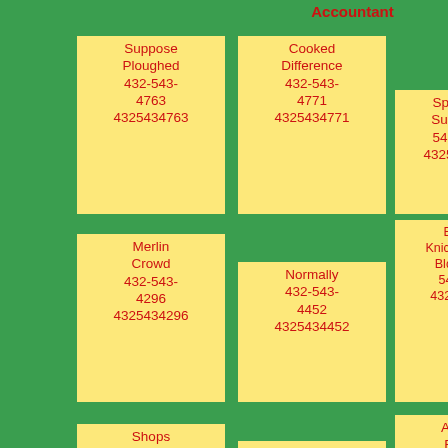Accountant
Suppose Ploughed 432-543-4763 4325434763
Cooked Difference 432-543-4771 4325434771
Spending Sure 432-543-4865 4325434865
Merlin Crowd 432-543-4296 4325434296
Normally 432-543-4452 4325434452
Biscuits Knickerbocker Blond 432-543-4476 4325434476
Shops Dirty Gorgons 432-543-4381 4325434381
Than Counting 432-543-4747 4325434747
Animals Except Putting 432-543-4105 4325434105
Spend